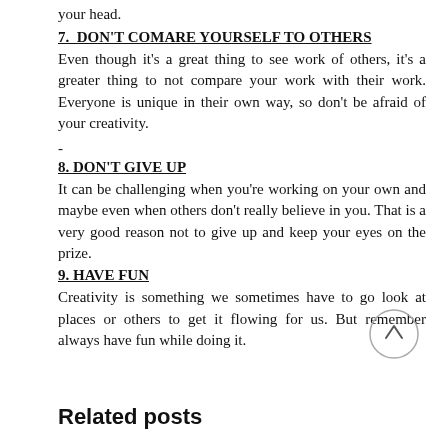your head.
7.  DON'T COMARE YOURSELF TO OTHERS
Even though it's a great thing to see work of others, it's a greater thing to not compare your work with their work. Everyone is unique in their own way, so don't be afraid of your creativity.
-
8. DON'T GIVE UP
It can be challenging when you're working on your own and maybe even when others don't really believe in you. That is a very good reason not to give up and keep your eyes on the prize.
9. HAVE FUN
Creativity is something we sometimes have to go look at places or others to get it flowing for us. But remember always have fun while doing it.
Related posts